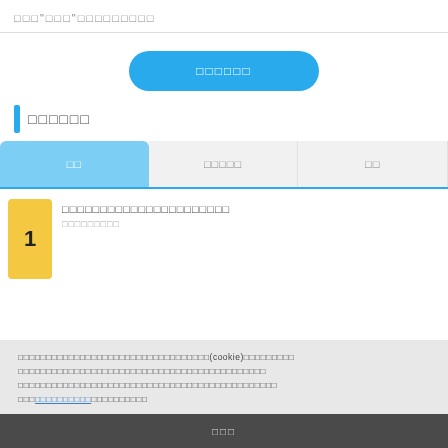□□□"□□□"□□□□□□□□□
[Figure (other): Blue pill-shaped button with Japanese/CJK placeholder text]
□□□□□□
| □□ | □□□□□ | □□ |
| --- | --- | --- |
□□□□□□□□□□□□□□□□□□□□□□
□□□□□□□□□□□□□□□□□□□□□□□□□□□□□□□□□□(cookie)□□□□□□□□□□□□□□□□□□□□□□□□□□□□□□□□□□□□□□□□□□□□□□□□□□□□□□□□□□□□□□□□□□□□□□□□□□□□□□□□□□□□□□□□□□□□□□□□□□□□□□□□□□□□□□□□□□□□□□□□□□□□□□□□□□□□□□□□□□□□□□□□□□□□□□□□□□□□□□□□□□□□□□□□□□□□□□